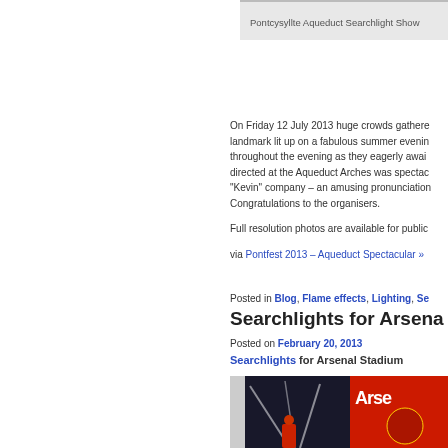Pontcysyllte Aqueduct Searchlight Show
On Friday 12 July 2013 huge crowds gathered as this landmark lit up on a fabulous summer evening throughout the evening as they eagerly awaited directed at the Aqueduct Arches was spectacular "Kevin" company – an amusing pronunciation Congratulations to the organisers.
Full resolution photos are available for public
via Pontfest 2013 – Aqueduct Spectacular »
Posted in Blog, Flame effects, Lighting, Se
Searchlights for Arsena
Posted on February 20, 2013
Searchlights for Arsenal Stadium
[Figure (photo): Photo showing searchlights at Arsenal Stadium with Arsenal FC branding/logo visible on the right side]